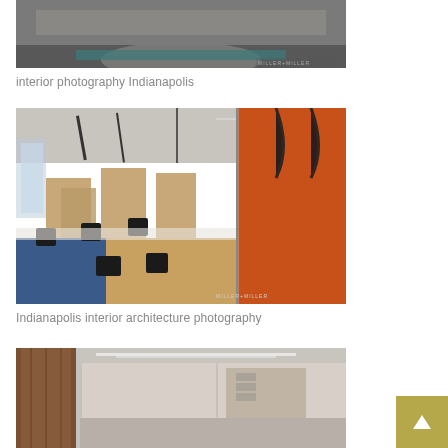[Figure (photo): Interior office photography showing a modern conference/meeting area with a large circular table and dark flooring — Indianapolis interior photography]
interior photography Indianapolis
[Figure (photo): Indianapolis interior architecture photography showing a large open-plan office with tan/beige workstation partitions, dark task chairs, blue carpet, wood flooring, and an orange accent wall with arched dark pendant lights]
Indianapolis interior architecture photography
[Figure (photo): Partial view of an interior office corridor with wood paneling and glass partitions — bottom of page, cropped]